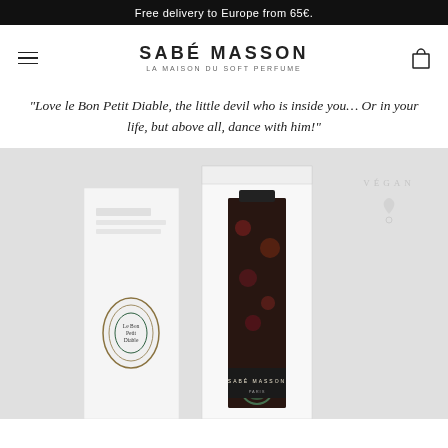Free delivery to Europe from 65€.
SABÉ MASSON
LA MAISON DU SOFT PERFUME
"Love le Bon Petit Diable, the little devil who is inside you… Or in your life, but above all, dance with him!"
[Figure (photo): Product photo showing two Le Bon Petit Diable perfume boxes from Sabé Masson — one showing the spine/back of a white box and one open white box containing an illustrated perfume bottle with a decorative green oval label reading 'Le Bon Petit Diable'. A vegan stamp is visible in the upper right area of the image.]